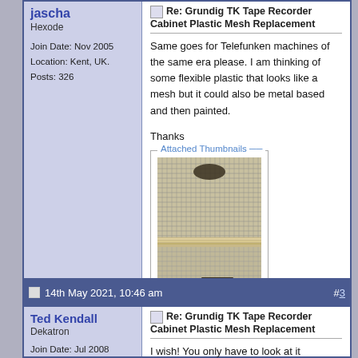jascha
Hexode
Join Date: Nov 2005
Location: Kent, UK.
Posts: 326
Re: Grundig TK Tape Recorder Cabinet Plastic Mesh Replacement
Same goes for Telefunken machines of the same era please. I am thinking of some flexible plastic that looks like a mesh but it could also be metal based and then painted.

Thanks
[Figure (photo): Thumbnail photo of a Grundig/Telefunken tape recorder cabinet showing plastic mesh texture, metallic body with horizontal ridges]
14th May 2021, 10:46 am   #3
Ted Kendall
Dekatron
Join Date: Jul 2008
Re: Grundig TK Tape Recorder Cabinet Plastic Mesh Replacement
I wish! You only have to look at it